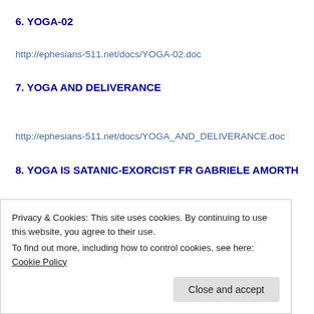6. YOGA-02
http://ephesians-511.net/docs/YOGA-02.doc
7. YOGA AND DELIVERANCE
http://ephesians-511.net/docs/YOGA_AND_DELIVERANCE.doc
8. YOGA IS SATANIC-EXORCIST FR GABRIELE AMORTH
Privacy & Cookies: This site uses cookies. By continuing to use this website, you agree to their use. To find out more, including how to control cookies, see here: Cookie Policy